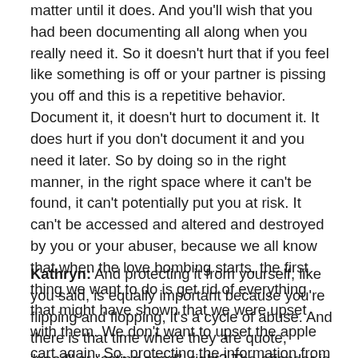matter until it does. And you'll wish that you had been documenting all along when you really need it. So it doesn't hurt that if you feel like something is off or your partner is pissing you off and this is a repetitive behavior. Document it, it doesn't hurt to document it. It does hurt if you don't document it and you need it later. So by doing so in the right manner, in the right space where it can't be found, it can't potentially put you at risk. It can't be accessed and altered and destroyed by you or your abuser, because we all know that when the love bombing starts, the first thing we want to do is get rid of everything that might have shown that we were upset with them. We don't want to upset the apple cart again. So, protecting the information from yourself as well as from those who would cause you harm is equally as important.
Kathryn: And protecting it from yourself, like you said, is equally important because you're flipping and flopping, it's a cycle of abuse. And there is that time where they are quote, "good" or "acting good", right? The offender is acting good and you're like, "wow, this relationship is healthy and I'm